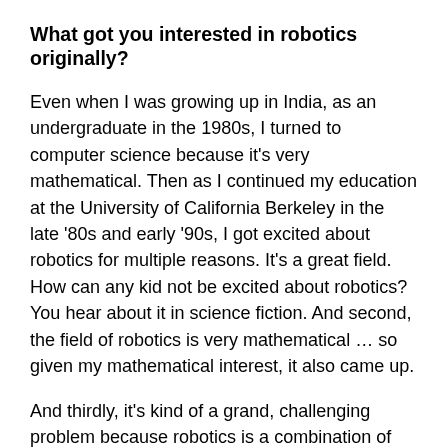What got you interested in robotics originally?
Even when I was growing up in India, as an undergraduate in the 1980s, I turned to computer science because it's very mathematical. Then as I continued my education at the University of California Berkeley in the late '80s and early '90s, I got excited about robotics for multiple reasons. It's a great field. How can any kid not be excited about robotics? You hear about it in science fiction. And second, the field of robotics is very mathematical … so given my mathematical interest, it also came up.
And thirdly, it's kind of a grand, challenging problem because robotics is a combination of different fields put together and integrated. So, the combination of the fundamental math, the impact and the engineering